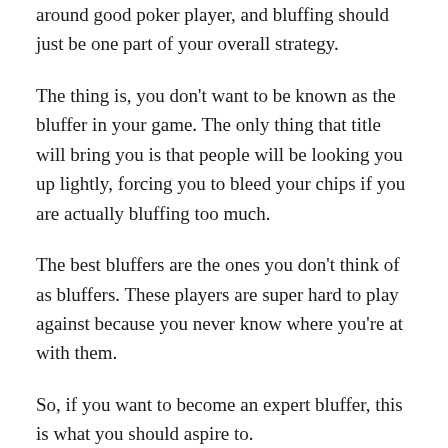around good poker player, and bluffing should just be one part of your overall strategy.
The thing is, you don't want to be known as the bluffer in your game. The only thing that title will bring you is that people will be looking you up lightly, forcing you to bleed your chips if you are actually bluffing too much.
The best bluffers are the ones you don't think of as bluffers. These players are super hard to play against because you never know where you're at with them.
So, if you want to become an expert bluffer, this is what you should aspire to.
Everyone can throw their stack away time and time again in a desperate attempt to win a pot. The best know exactly when to put their chips at risk and when to give up – and that's what makes them the best.